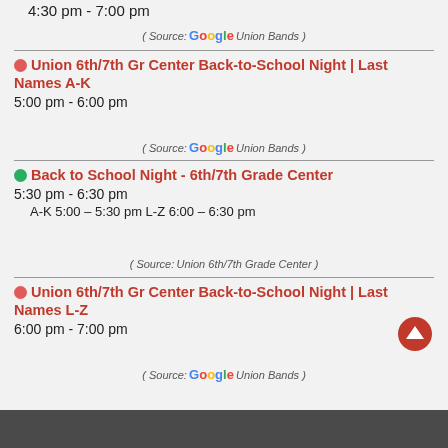4:30 pm - 7:00 pm
( Source: G Union Bands )
Union 6th/7th Gr Center Back-to-School Night | Last Names A-K
5:00 pm - 6:00 pm
( Source: G Union Bands )
Back to School Night - 6th/7th Grade Center
5:30 pm - 6:30 pm
A-K 5:00 – 5:30 pm L-Z 6:00 – 6:30 pm
( Source: Union 6th/7th Grade Center )
Union 6th/7th Gr Center Back-to-School Night | Last Names L-Z
6:00 pm - 7:00 pm
( Source: G Union Bands )